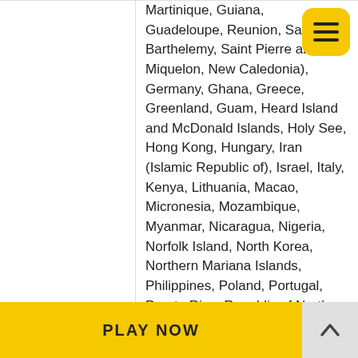Restricted Countries
Martinique, Guiana, Guadeloupe, Reunion, Saint Barthelemy, Saint Pierre and Miquelon, New Caledonia), Germany, Ghana, Greece, Greenland, Guam, Heard Island and McDonald Islands, Holy See, Hong Kong, Hungary, Iran (Islamic Republic of), Israel, Italy, Kenya, Lithuania, Macao, Micronesia, Mozambique, Myanmar, Nicaragua, Nigeria, Norfolk Island, North Korea, Northern Mariana Islands, Philippines, Poland, Portugal, Puerto Rico, Republic of North